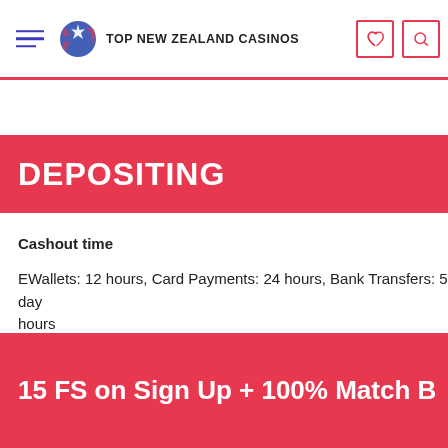TOP NEW ZEALAND CASINOS
DEPOSITING
Cashout time
EWallets: 12 hours, Card Payments: 24 hours, Bank Transfers: 5 days hours
15 FS on Sign Up + 100% Match B